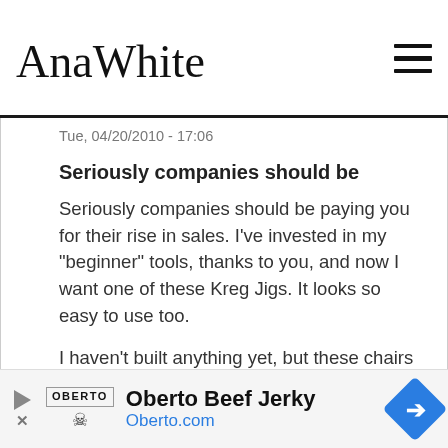AnaWhite
Tue, 04/20/2010 - 17:06
Seriously companies should be
Seriously companies should be paying you for their rise in sales. I've invested in my "beginner" tools, thanks to you, and now I want one of these Kreg Jigs. It looks so easy to use too.

I haven't built anything yet, but these chairs have now made it close to the top of my list. I've been waiting for something like this.

Thanks again Ana!
Log in or register to post comments
[Figure (other): Oberto Beef Jerky advertisement banner with logo and Oberto.com URL]